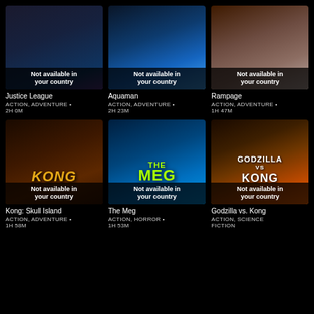[Figure (illustration): Justice League movie poster placeholder - dark background, not available in your country overlay]
Justice League
ACTION, ADVENTURE • 2H 0M
[Figure (illustration): Aquaman movie poster - blue underwater scene with figure holding trident, not available in your country overlay]
Aquaman
ACTION, ADVENTURE • 2H 23M
[Figure (illustration): Rampage movie poster - man in white shirt, mountainous background, not available in your country overlay]
Rampage
ACTION, ADVENTURE • 1H 47M
[Figure (illustration): Kong: Skull Island movie poster - close-up of Kong face with KONG text, not available in your country overlay]
Kong: Skull Island
ACTION, ADVENTURE • 1H 58M
[Figure (illustration): The Meg movie poster - blue ocean with shark teeth, THE MEG text in green, not available in your country overlay]
The Meg
ACTION, HORROR • 1H 53M
[Figure (illustration): Godzilla vs. Kong movie poster - orange/red atmospheric scene with GODZILLA VS KONG text, not available in your country overlay]
Godzilla vs. Kong
ACTION, SCIENCE FICTION